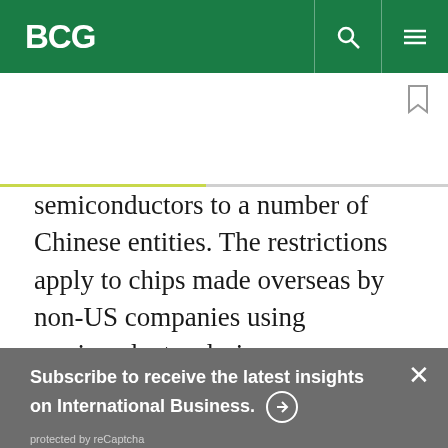BCG
semiconductors to a number of Chinese entities. The restrictions apply to chips made overseas by non-US companies using semiconductor design
Subscribe to receive the latest insights on International Business. protected by reCaptcha
By using this site, you agree with our use of cookies.
I consent to cookies
Want to know more?
Read our Cookie Policy